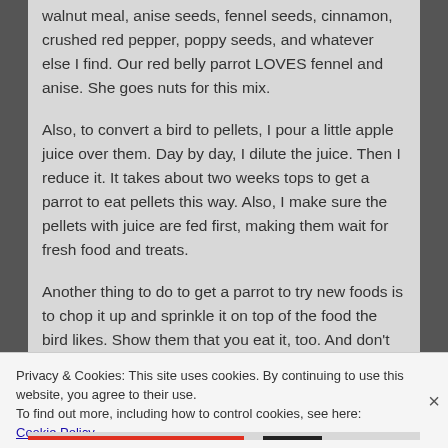walnut meal, anise seeds, fennel seeds, cinnamon, crushed red pepper, poppy seeds, and whatever else I find. Our red belly parrot LOVES fennel and anise. She goes nuts for this mix.
Also, to convert a bird to pellets, I pour a little apple juice over them. Day by day, I dilute the juice. Then I reduce it. It takes about two weeks tops to get a parrot to eat pellets this way. Also, I make sure the pellets with juice are fed first, making them wait for fresh food and treats.
Another thing to do to get a parrot to try new foods is to chop it up and sprinkle it on top of the food the bird likes. Show them that you eat it, too. And don't
Privacy & Cookies: This site uses cookies. By continuing to use this website, you agree to their use.
To find out more, including how to control cookies, see here: Cookie Policy
Close and accept